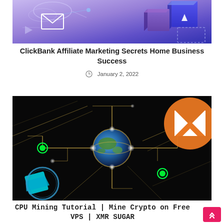[Figure (illustration): Top portion of a digital marketing illustration with purple/blue 3D blocks and envelope icon on a gradient purple-blue background]
ClickBank Affiliate Marketing Secrets Home Business Success
January 2, 2022
[Figure (illustration): Dark background crypto/blockchain image with globe at center, circuit board lines, green dots, orange Monero M logo top right, cyan gem bottom left, and diagonal light streaks]
CPU Mining Tutorial | Mine Crypto on Free VPS | XMR SUGAR